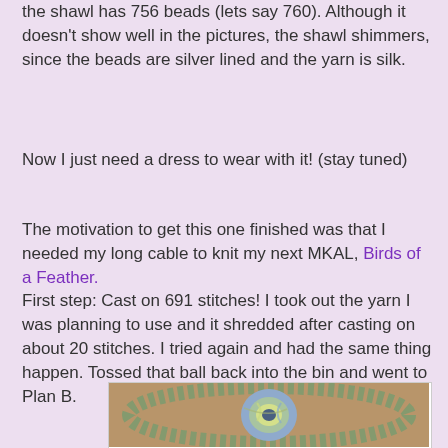the shawl has 756 beads (lets say 760). Although it doesn't show well in the pictures, the shawl shimmers, since the beads are silver lined and the yarn is silk.
Now I just need a dress to wear with it! (stay tuned)
The motivation to get this one finished was that I needed my long cable to knit my next MKAL, Birds of a Feather.
First step: Cast on 691 stitches! I took out the yarn I was planning to use and it shredded after casting on about 20 stitches. I tried again and had the same thing happen. Tossed that ball back into the bin and went to Plan B.
[Figure (photo): A ball of multicolored blue-green-yellow yarn surrounded by a knitted lace shawl in progress, arranged in a circle on a brown surface.]